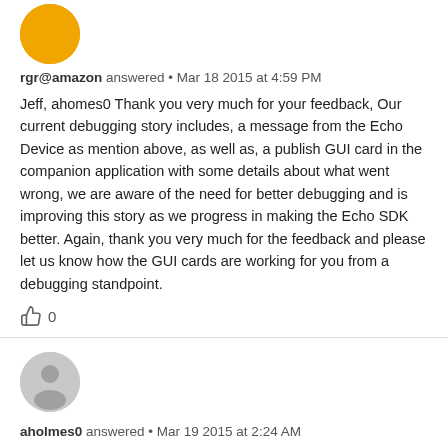[Figure (illustration): Orange circular avatar icon at top left]
rgr@amazon answered • Mar 18 2015 at 4:59 PM
Jeff, ahomes0 Thank you very much for your feedback, Our current debugging story includes, a message from the Echo Device as mention above, as well as, a publish GUI card in the companion application with some details about what went wrong, we are aware of the need for better debugging and is improving this story as we progress in making the Echo SDK better. Again, thank you very much for the feedback and please let us know how the GUI cards are working for you from a debugging standpoint.
[Figure (illustration): Thumbs up icon with count 0]
[Figure (illustration): Gray circular avatar icon with person silhouette]
aholmes0 answered • Mar 19 2015 at 2:24 AM
Hi, of course. Here's some follow-up information. In one problem example, I did not capitalize the "s" in "Simple" for a card response. Thankfully I saw this right away and corrected it, but the feedback I received from the Echo was